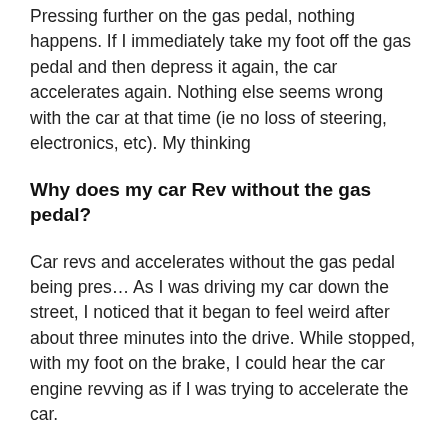Pressing further on the gas pedal, nothing happens. If I immediately take my foot off the gas pedal and then depress it again, the car accelerates again. Nothing else seems wrong with the car at that time (ie no loss of steering, electronics, etc). My thinking
Why does my car Rev without the gas pedal?
Car revs and accelerates without the gas pedal being pres… As I was driving my car down the street, I noticed that it began to feel weird after about three minutes into the drive. While stopped, with my foot on the brake, I could hear the car engine revving as if I was trying to accelerate the car.
The problem of having to accelerate to reach the light does seem an irritant, but from a safety standpoint – if not economy – I'd prefer it (unless the guy behind me rams me in impatience!) How about this: when I put the auto trans into N, I get more deceleration than when it is in D with my foot off the gas pedal.